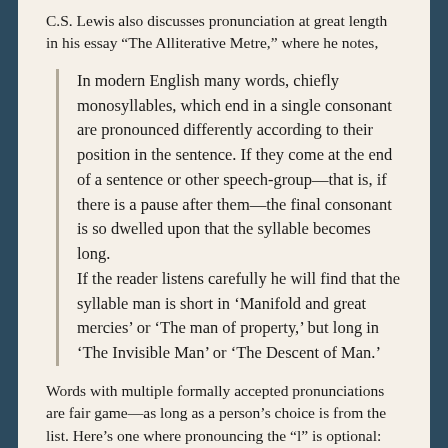C.S. Lewis also discusses pronunciation at great length in his essay “The Alliterative Metre,” where he notes,
In modern English many words, chiefly monosyllables, which end in a single consonant are pronounced differently according to their position in the sentence. If they come at the end of a sentence or other speech-group—that is, if there is a pause after them—the final consonant is so dwelled upon that the syllable becomes long.
If the reader listens carefully he will find that the syllable man is short in ‘Manifold and great mercies’ or ‘The man of property,’ but long in ‘The Invisible Man’ or ‘The Descent of Man.’
Words with multiple formally accepted pronunciations are fair game—as long as a person’s choice is from the list. Here’s one where pronouncing the “l” is optional: